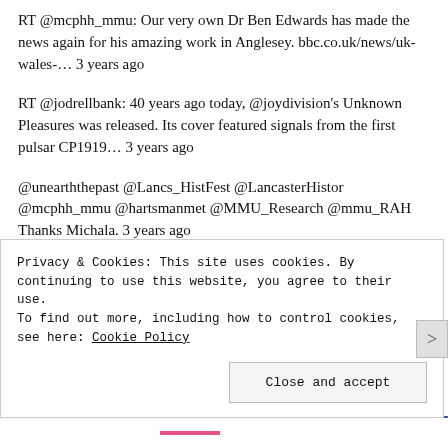RT @mcphh_mmu: Our very own Dr Ben Edwards has made the news again for his amazing work in Anglesey. bbc.co.uk/news/uk-wales-... 3 years ago
RT @jodrellbank: 40 years ago today, @joydivision's Unknown Pleasures was released. Its cover featured signals from the first pulsar CP1919... 3 years ago
@unearththepast @Lancs_HistFest @LancasterHistor @mcphh_mmu @hartsmanmet @MMU_Research @mmu_RAH Thanks Michala. 3 years ago
Just finishing my paper on the origins of #AngelMeadow for the opening session of #histfest2019 tomorrow. Looking f... twitter.com/i/web/status/1... 3 years ago
Privacy & Cookies: This site uses cookies. By continuing to use this website, you agree to their use.
To find out more, including how to control cookies, see here: Cookie Policy
Close and accept